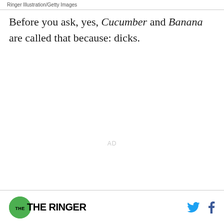Ringer Illustration/Getty Images
Before you ask, yes, Cucumber and Banana are called that because: dicks.
AD
The Ringer [logo] [Twitter icon] [Facebook icon]